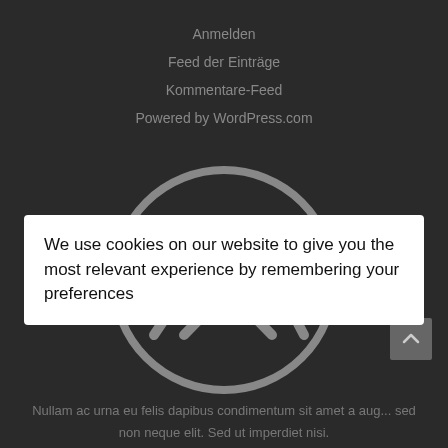Anmelden
Feed der Einträge
Kommentare-Feed
Powered by WordPress.com
[Figure (illustration): Circle icon with crossed tools (crossed fork and knife or similar utensils) in grey outline style on dark background]
We use cookies on our website to give you the most relevant experience by remembering your preferences
Nullam ac urna eu felis dapibus condimentum sit amet a aug... sed non neque elit. Sed ut imperdiet nisi.